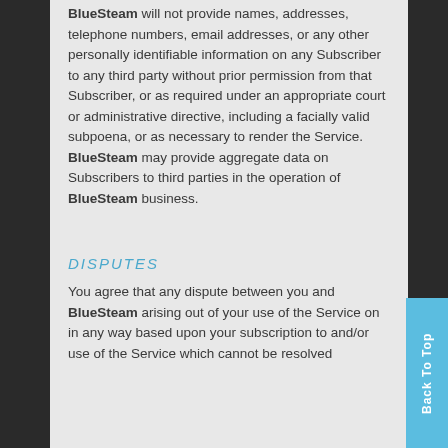BlueSteam will not provide names, addresses, telephone numbers, email addresses, or any other personally identifiable information on any Subscriber to any third party without prior permission from that Subscriber, or as required under an appropriate court or administrative directive, including a facially valid subpoena, or as necessary to render the Service. BlueSteam may provide aggregate data on Subscribers to third parties in the operation of BlueSteam business.
DISPUTES
You agree that any dispute between you and BlueSteam arising out of your use of the Service on in any way based upon your subscription to and/or use of the Service which cannot be resolved